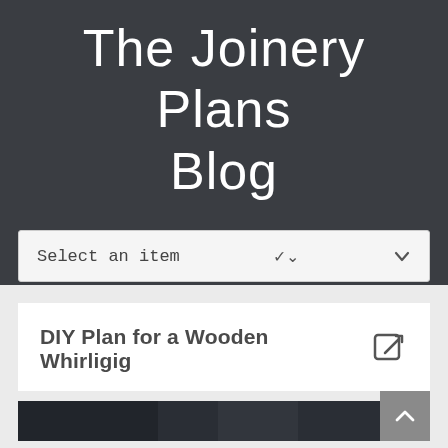The Joinery Plans Blog
Select an item
DIY Plan for a Wooden Whirligig
[Figure (photo): Dark photograph of woodworking tools or project, partially visible at bottom of page]